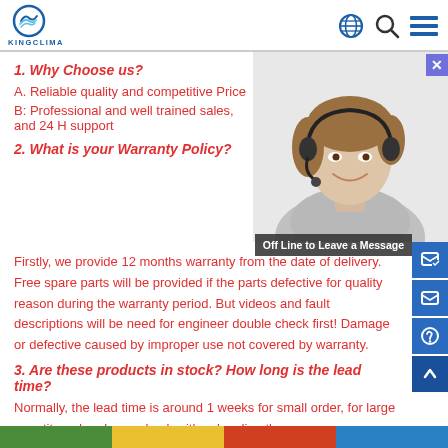KINGCLIMA
1. Why Choose us?
A. Reliable quality and competitive Price
B: Professional and well trained sales, and 24 H support
[Figure (photo): Customer service representative woman with headset, black and white]
2. What is your Warranty Policy?
Firstly, we provide 12 months warranty from the date of delivery. Free spare parts will be provided if the parts defective for quality reason during the warranty period. But videos and fault descriptions will be need for engineer double check first! Damage or defective caused by improper use not covered by warranty.
3. Are these products in stock? How long is the lead time?
Normally, the lead time is around 1 weeks for small order, for large quantity order please check with sales directly